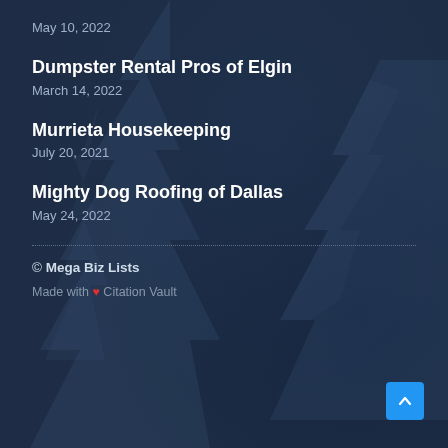May 10, 2022
Dumpster Rental Pros of Elgin
March 14, 2022
Murrieta Housekeeping
July 20, 2021
Mighty Dog Roofing of Dallas
May 24, 2022
© Mega Biz Lists
Made with ❤ Citation Vault